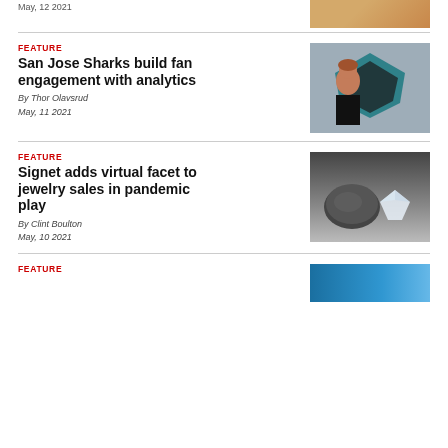May, 12 2021
[Figure (photo): Partial photo, cropped at top]
FEATURE
San Jose Sharks build fan engagement with analytics
By Thor Olavsrud
May, 11 2021
[Figure (photo): Woman standing in front of San Jose Sharks logo]
FEATURE
Signet adds virtual facet to jewelry sales in pandemic play
By Clint Boulton
May, 10 2021
[Figure (photo): Raw and cut diamonds on grey background]
FEATURE
[Figure (photo): Partial blue photo, cropped at bottom]